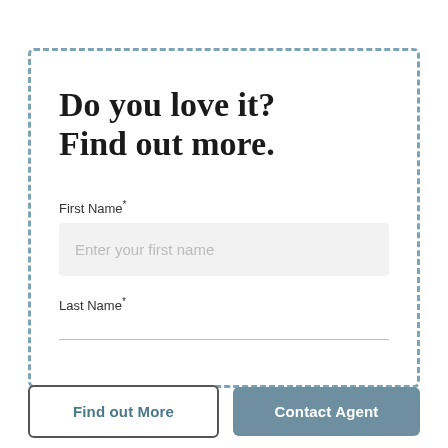Do you love it? Find out more.
First Name*
Enter your first name
Last Name*
Find out More
Contact Agent